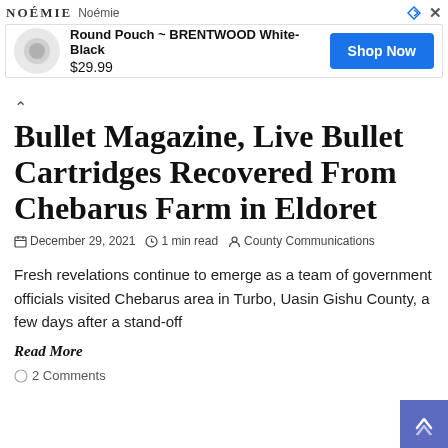[Figure (other): Advertisement banner: NOÉMIE brand, Round Pouch ~ BRENTWOOD White-Black, $29.99, Shop Now button]
Bullet Magazine, Live Bullet Cartridges Recovered From Chebarus Farm in Eldoret
December 29, 2021  1 min read  County Communications
Fresh revelations continue to emerge as a team of government officials visited Chebarus area in Turbo, Uasin Gishu County, a few days after a stand-off
Read More